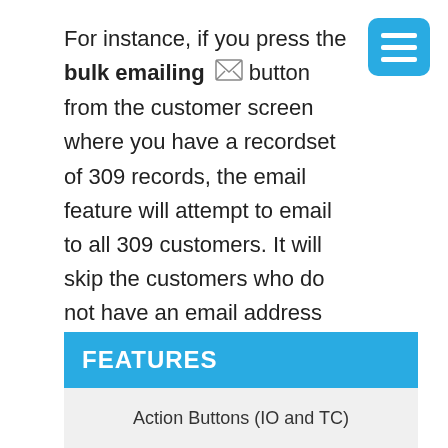For instance, if you press the bulk emailing button from the customer screen where you have a recordset of 309 records, the email feature will attempt to email to all 309 customers. It will skip the customers who do not have an email address entered. If more than 1 customer record has the same email address, only the first customer with that address will be sent an email.
FEATURES
Action Buttons (IO and TC)